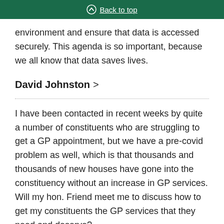Back to top
environment and ensure that data is accessed securely. This agenda is so important, because we all know that data saves lives.
David Johnston >
I have been contacted in recent weeks by quite a number of constituents who are struggling to get a GP appointment, but we have a pre-covid problem as well, which is that thousands and thousands of new houses have gone into the constituency without an increase in GP services. Will my hon. Friend meet me to discuss how to get my constituents the GP services that they need and deserve?